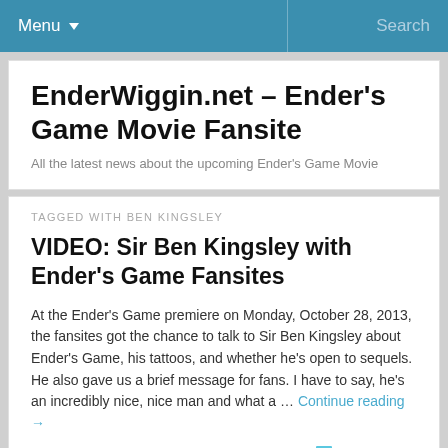Menu ▾   Search
EnderWiggin.net – Ender's Game Movie Fansite
All the latest news about the upcoming Ender's Game Movie
TAGGED WITH BEN KINGSLEY
VIDEO: Sir Ben Kingsley with Ender's Game Fansites
At the Ender's Game premiere on Monday, October 28, 2013, the fansites got the chance to talk to Sir Ben Kingsley about Ender's Game, his tattoos, and whether he's open to sequels. He also gave us a brief message for fans. I have to say, he's an incredibly nice, nice man and what a … Continue reading →
October 31, 2013   Leave a reply